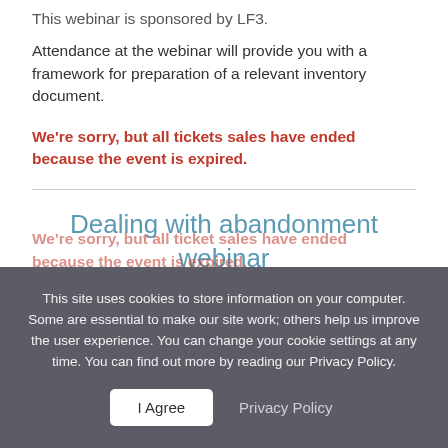This webinar is sponsored by LF3.
Attendance at the webinar will provide you with a framework for preparation of a relevant inventory document.
We're sorry, but all tickets sales have ended because the event is expired.
Dealing with abandonment webinar
This site uses cookies to store information on your computer. Some are essential to make our site work; others help us improve the user experience. You can change your cookie settings at any time. You can find out more by reading our Privacy Policy.